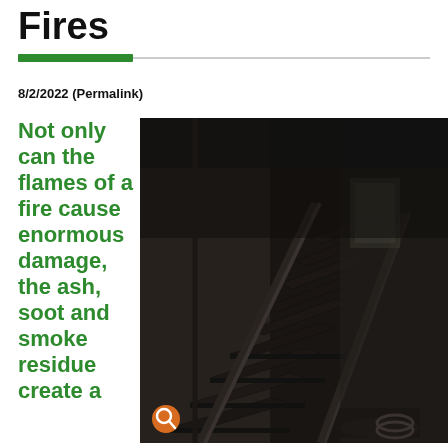Fires
8/2/2022 (Permalink)
Not only can the flames of a fire cause enormous damage, the ash, soot and smoke residue create a
[Figure (photo): Interior staircase of a building severely damaged by fire, showing charred black stairs, walls and railings with debris scattered around. A search/zoom icon overlay is visible in the bottom left corner of the image.]